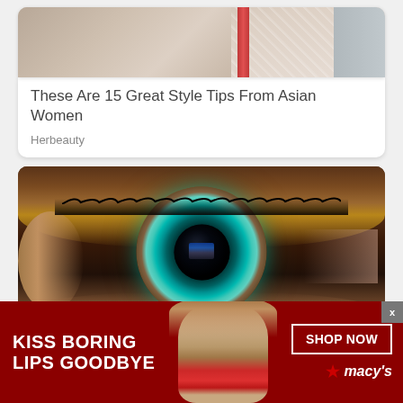[Figure (photo): Partial view of a person in a white lace outfit with a red stripe/element, cropped at top]
These Are 15 Great Style Tips From Asian Women
Herbeauty
[Figure (photo): Extreme close-up macro photo of a human eye with vivid teal/green iris and large dark pupil, heavy eye makeup with bronze eyeshadow]
[Figure (photo): Macy's advertisement banner: KISS BORING LIPS GOODBYE with a model wearing red lipstick, SHOP NOW button and Macy's star logo]